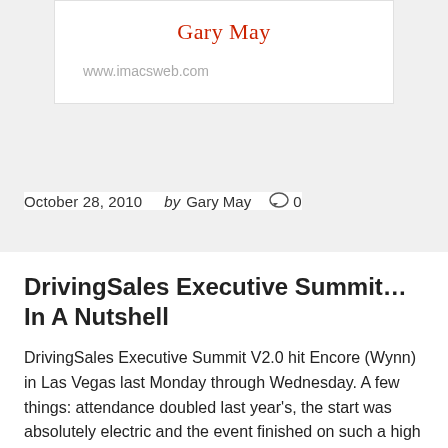Gary May
www.imacsweb.com
October 28, 2010  by Gary May  0
DrivingSales Executive Summit…In A Nutshell
DrivingSales Executive Summit V2.0 hit Encore (Wynn) in Las Vegas last Monday through Wednesday. A few things: attendance doubled last year's, the start was absolutely electric and the event finished on such a high it left many attendees literally longing for more and feeling like they needed another day. The DSES crew flat out